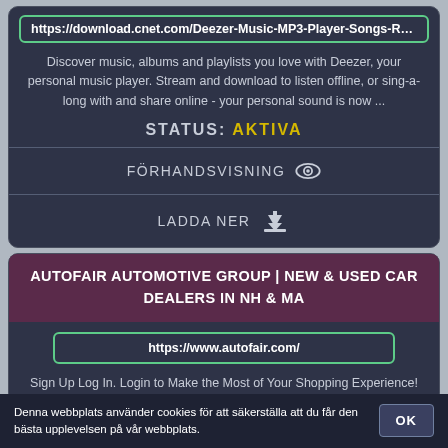https://download.cnet.com/Deezer-Music-MP3-Player-Songs-Radio-Pod
Discover music, albums and playlists you love with Deezer, your personal music player. Stream and download to listen offline, or sing-a-long with and share online - your personal sound is now ...
STATUS: AKTIVA
FÖRHANDSVISNING
LADDA NER
AUTOFAIR AUTOMOTIVE GROUP | NEW & USED CAR DEALERS IN NH & MA
https://www.autofair.com/
Sign Up Log In. Login to Make the Most of Your Shopping Experience!
Denna webbplats använder cookies för att säkerställa att du får den bästa upplevelsen på vår webbplats.